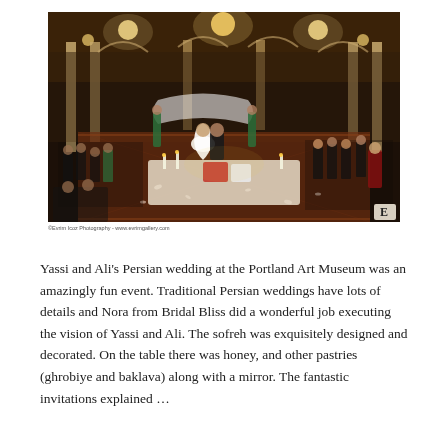[Figure (photo): Persian wedding ceremony at the Portland Art Museum. A bride in a white veil and groom sit at a sofreh (ceremonial table) decorated with candles, flowers, red and white items on an ornate rug. Guests are seated on both sides in a grand ballroom with white columns, arched alcoves, and ambient lighting. Bridesmaids in green dresses hold a white cloth over the couple.]
©Evrim Icoz Photography - www.evrimgallery.com
Yassi and Ali's Persian wedding at the Portland Art Museum was an amazingly fun event. Traditional Persian weddings have lots of details and Nora from Bridal Bliss did a wonderful job executing the vision of Yassi and Ali. The sofreh was exquisitely designed and decorated. On the table there was honey, and other pastries (ghrobiye and baklava) along with a mirror. The fantastic invitations explained …